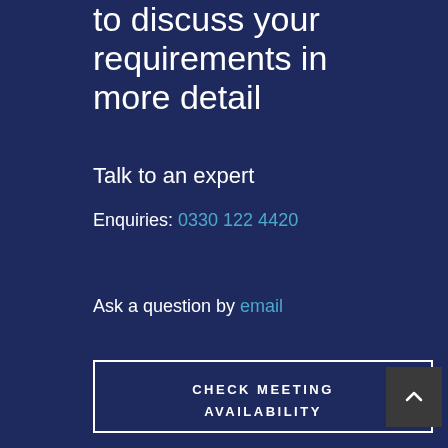to discuss your requirements in more detail
Talk to an expert
Enquiries: 0330 122 4420
Ask a question by email
CHECK MEETING AVAILABILITY